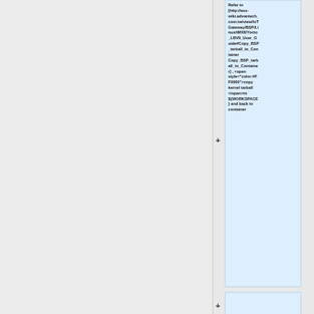Refer to [http://ess-wiki.advantech.com.tw/view/IoTGateway/BSP/Linux/iMX8/Yocto_LBV9_User_Guide#Copy_BSP_tarball_to_Container Copy_BSP_tarball_to_Container] , <span style="color:#FF0000">copy kernel tarball </span>to ${WORKSPACE} and back to container
change owner &